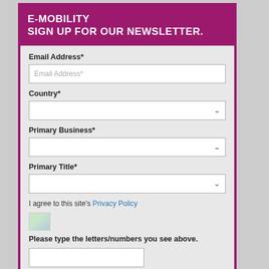E-MOBILITY
SIGN UP FOR OUR NEWSLETTER.
Email Address*
Country*
Primary Business*
Primary Title*
I agree to this site's Privacy Policy
[Figure (other): CAPTCHA image placeholder]
Please type the letters/numbers you see above.
SUBMIT